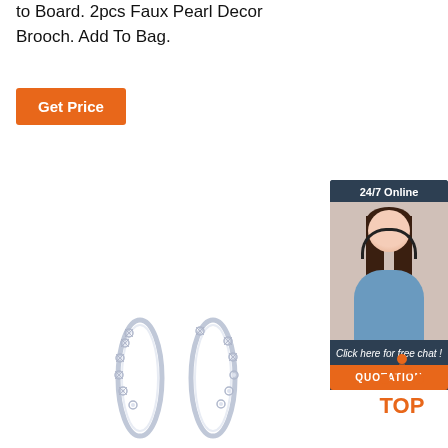to Board. 2pcs Faux Pearl Decor Brooch. Add To Bag.
[Figure (other): Orange 'Get Price' button]
[Figure (other): 24/7 Online chat widget with customer service representative photo, 'Click here for free chat!' text, and orange QUOTATION button]
[Figure (photo): Two silver crystal hoop earrings with sparkly stone embellishments]
[Figure (logo): TOP logo with orange dots arranged in triangle above bold orange TOP text]